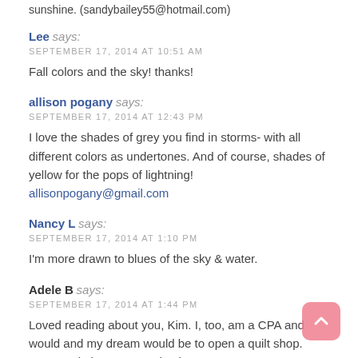sunshine. (sandybailey55@hotmail.com)
Lee says:
SEPTEMBER 17, 2014 AT 10:51 AM
Fall colors and the sky! thanks!
allison pogany says:
SEPTEMBER 17, 2014 AT 12:43 PM
I love the shades of grey you find in storms- with all different colors as undertones. And of course, shades of yellow for the pops of lightning! allisonpogany@gmail.com
Nancy L says:
SEPTEMBER 17, 2014 AT 1:10 PM
I'm more drawn to blues of the sky & water.
Adele B says:
SEPTEMBER 17, 2014 AT 1:44 PM
Loved reading about you, Kim. I, too, am a CPA and would and my dream would be to open a quilt shop. Congratulations on your business success. You are an inspiration to me! Adele Roper, CPA